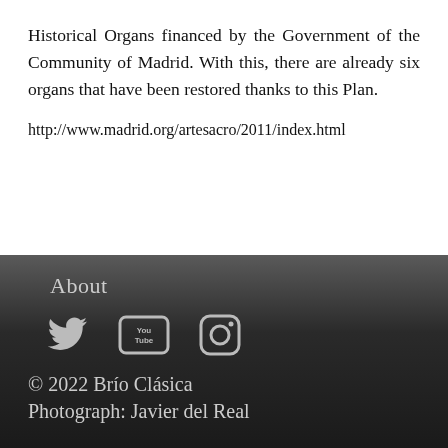Historical Organs financed by the Government of the Community of Madrid. With this, there are already six organs that have been restored thanks to this Plan.
http://www.madrid.org/artesacro/2011/index.html
About
[Figure (other): Social media icons: Twitter bird, YouTube logo, Instagram camera]
© 2022 Brío Clásica
Photograph: Javier del Real